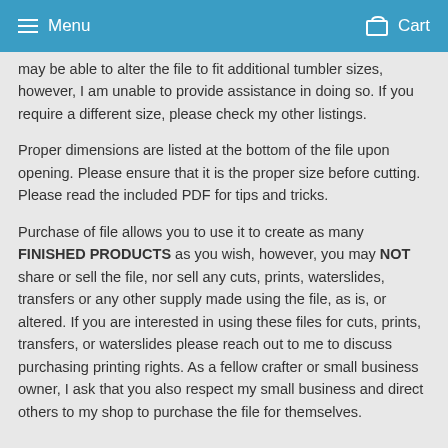Menu  Cart
This specific template is sized to fit the tumbler listed in the title. You may be able to alter the file to fit additional tumbler sizes, however, I am unable to provide assistance in doing so. If you require a different size, please check my other listings.
Proper dimensions are listed at the bottom of the file upon opening. Please ensure that it is the proper size before cutting. Please read the included PDF for tips and tricks.
Purchase of file allows you to use it to create as many FINISHED PRODUCTS as you wish, however, you may NOT share or sell the file, nor sell any cuts, prints, waterslides, transfers or any other supply made using the file, as is, or altered. If you are interested in using these files for cuts, prints, transfers, or waterslides please reach out to me to discuss purchasing printing rights. As a fellow crafter or small business owner, I ask that you also respect my small business and direct others to my shop to purchase the file for themselves.